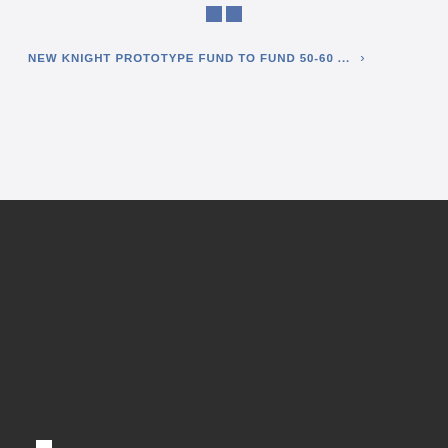[Figure (logo): Small dark square icon/logo pair at top center of page]
NEW KNIGHT PROTOTYPE FUND TO FUND 50-60 ... >
[Figure (logo): MIT Media Lab logo - white geometric bracket shape with 'mit media lab' text on dark background]
Login
Comparative Media Studies | Writing